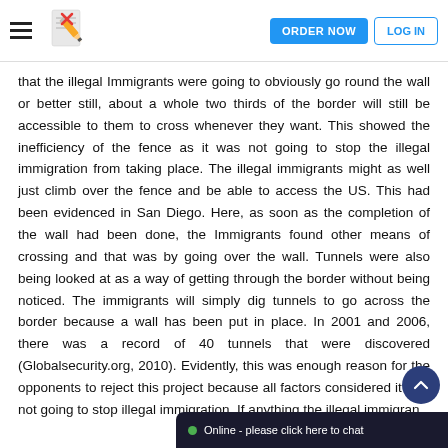ORDER NOW | LOG IN
that the illegal Immigrants were going to obviously go round the wall or better still, about a whole two thirds of the border will still be accessible to them to cross whenever they want. This showed the inefficiency of the fence as it was not going to stop the illegal immigration from taking place. The illegal immigrants might as well just climb over the fence and be able to access the US. This had been evidenced in San Diego. Here, as soon as the completion of the wall had been done, the Immigrants found other means of crossing and that was by going over the wall. Tunnels were also being looked at as a way of getting through the border without being noticed. The immigrants will simply dig tunnels to go across the border because a wall has been put in place. In 2001 and 2006, there was a record of 40 tunnels that were discovered (Globalsecurity.org, 2010). Evidently, this was enough reason for the opponents to reject this project because all factors considered it was not going to stop illegal immigration. If anything the illegal immigran... of going round the border with...